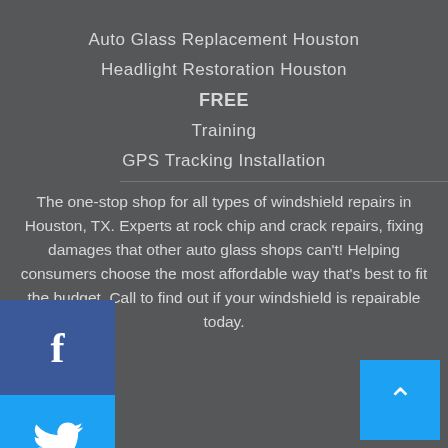Auto Glass Replacement Houston
Headlight Restoration Houston
FREE
Training
GPS Tracking Installation
The one-stop shop for all types of windshield repairs in Houston, TX. Experts at rock chip and crack repairs, fixing damages that other auto glass shops can't! Helping consumers choose the most affordable way that's best to fit the budget. Call to find out if your windshield is repairable today.